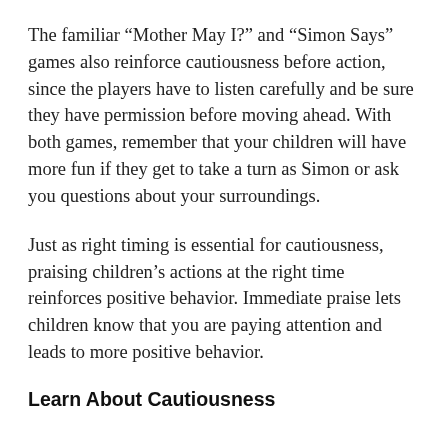The familiar “Mother May I?” and “Simon Says” games also reinforce cautiousness before action, since the players have to listen carefully and be sure they have permission before moving ahead. With both games, remember that your children will have more fun if they get to take a turn as Simon or ask you questions about your surroundings.
Just as right timing is essential for cautiousness, praising children’s actions at the right time reinforces positive behavior. Immediate praise lets children know that you are paying attention and leads to more positive behavior.
Learn About Cautiousness